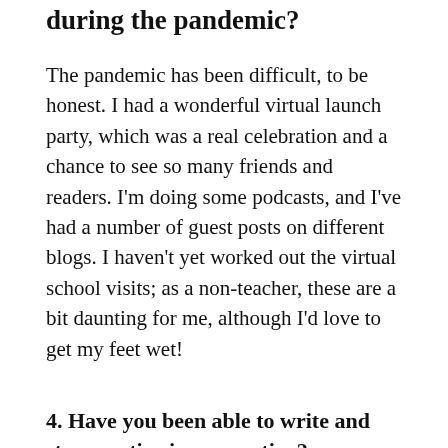during the pandemic?
The pandemic has been difficult, to be honest. I had a wonderful virtual launch party, which was a real celebration and a chance to see so many friends and readers. I'm doing some podcasts, and I've had a number of guest posts on different blogs. I haven't yet worked out the virtual school visits; as a non-teacher, these are a bit daunting for me, although I'd love to get my feet wet!
4. Have you been able to write and stay creative in quarantine?
Writing during quarantine has been